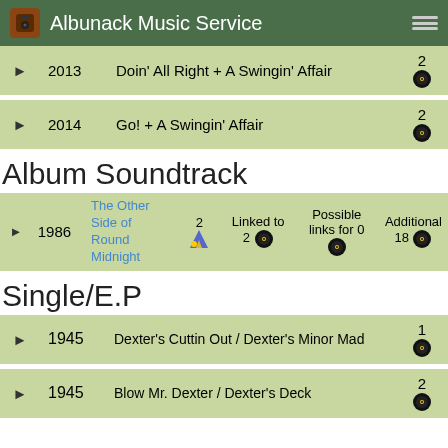Albunack Music Service
2013 — Doin' All Right + A Swingin' Affair — 2
2014 — Go! + A Swingin' Affair — 2
Album Soundtrack
1986 — The Other Side of Round Midnight — 2 — Linked to 2 — Possible links for 0 — Additional 18
Single/E.P
1945 — Dexter's Cuttin Out / Dexter's Minor Mad — 1
1945 — Blow Mr. Dexter / Dexter's Deck — 2